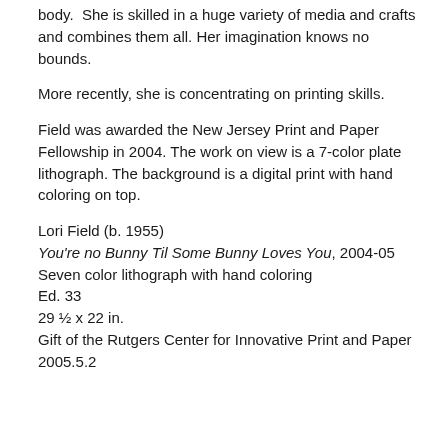body.  She is skilled in a huge variety of media and crafts and combines them all. Her imagination knows no bounds.
More recently, she is concentrating on printing skills.
Field was awarded the New Jersey Print and Paper Fellowship in 2004. The work on view is a 7-color plate lithograph. The background is a digital print with hand coloring on top.
Lori Field (b. 1955)
You're no Bunny Til Some Bunny Loves You, 2004-05
Seven color lithograph with hand coloring
Ed. 33
29 ½ x 22 in.
Gift of the Rutgers Center for Innovative Print and Paper
2005.5.2